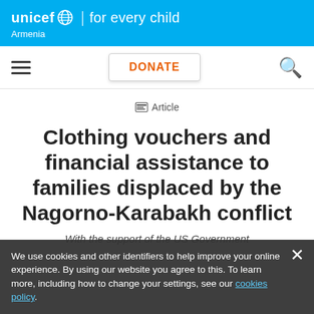unicef for every child Armenia
DONATE
Article
Clothing vouchers and financial assistance to families displaced by the Nagorno-Karabakh conflict
With the support of the US Government
We use cookies and other identifiers to help improve your online experience. By using our website you agree to this. To learn more, including how to change your settings, see our cookies policy.